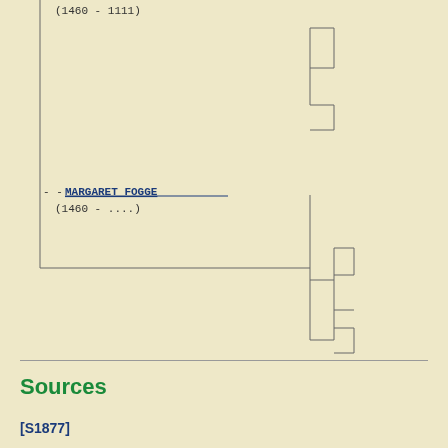[Figure (other): Genealogy tree diagram fragment showing MARGARET FOGGE (1460 - ....) with connecting lines to ancestor/descendant boxes, plus an upper unlabeled section with (1460 - 1111) partial text and bracket connectors.]
Sources
[S1877]